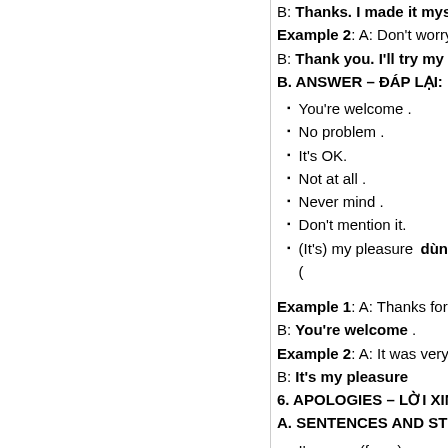B: Thanks. I made it myse[lf.]
Example 2: A: Don't worry, [...]
B: Thank you. I'll try my b[est.]
B. ANSWER – ĐÁP LẠI:
You're welcome .
No problem .
It's OK.
Not at all .
Never mind .
Don't mention it.
(It's) my pleasure (dùn[g...]
Example 1: A: Thanks for m[...]
B: You're welcome .
Example 2: A: It was very k[...]
B: It's my pleasure
6. APOLOGIES – LỜI XIN[...]
A. SENTENCES AND STR[...]
I'm sorry (for…)
I'm so / very / terrible /[...]
I apologize for…